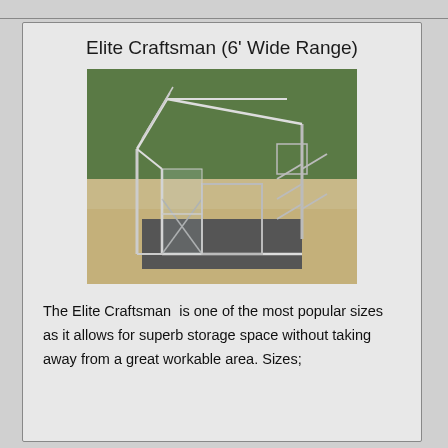Elite Craftsman (6' Wide Range)
[Figure (photo): Photo of an Elite Craftsman greenhouse with aluminum frame and glass panels, sitting on a gravel surface with green hedges in the background.]
The Elite Craftsman  is one of the most popular sizes as it allows for superb storage space without taking away from a great workable area. Sizes;